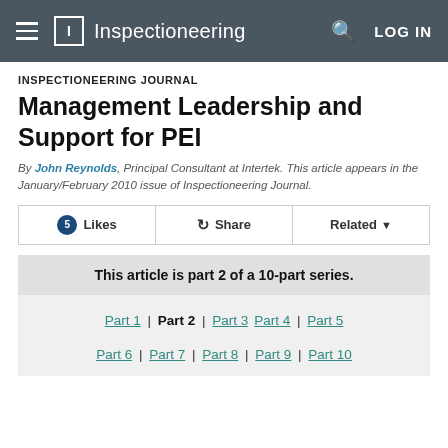Inspectioneering
INSPECTIONEERING JOURNAL
Management Leadership and Support for PEI
By John Reynolds, Principal Consultant at Intertek. This article appears in the January/February 2010 issue of Inspectioneering Journal.
5 Likes | Share | Related
This article is part 2 of a 10-part series.
Part 1 | Part 2 | Part 3 Part 4 | Part 5 Part 6 | Part 7 | Part 8 | Part 9 | Part 10